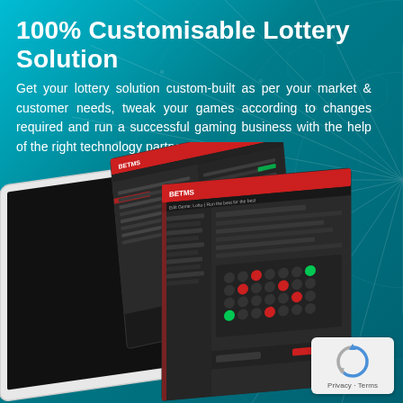100% Customisable Lottery Solution
Get your lottery solution custom-built as per your market & customer needs, tweak your games according to changes required and run a successful gaming business with the help of the right technology partner.
[Figure (other): Red rounded rectangle button with white bold uppercase text: SCHEDULE A DEMO]
[Figure (screenshot): 3D perspective view of a tablet/laptop displaying lottery software dashboard with dark UI, red and green status indicators, multiple overlapping screen panels showing game management interface]
[Figure (logo): reCAPTCHA badge with circular arrow logo and Privacy - Terms text]